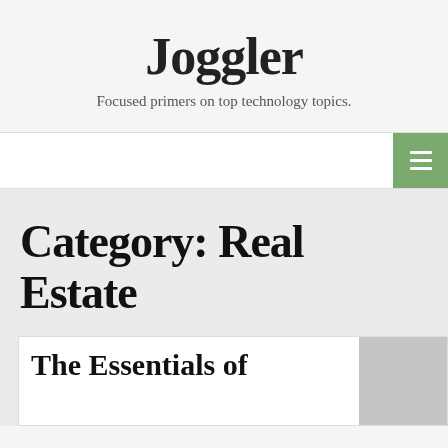Joggler
Focused primers on top technology topics.
Category: Real Estate
The Essentials of